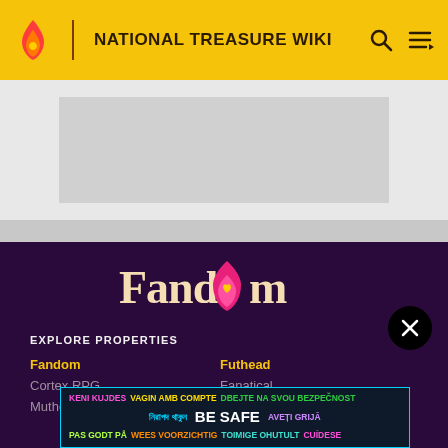NATIONAL TREASURE WIKI
[Figure (screenshot): Gray advertisement placeholder area]
[Figure (logo): Fandom logo in white/pink/yellow on dark purple background]
EXPLORE PROPERTIES
Fandom
Futhead
Cortex RPG
Fanatical
Muthea...
[Figure (infographic): BE SAFE multilingual safety banner with cyan border]
[Figure (infographic): Black circle close/X button]